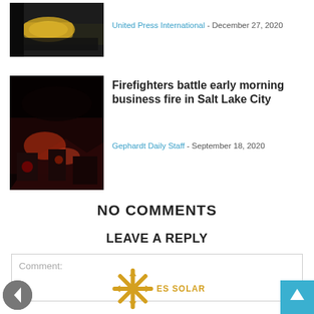[Figure (photo): Nighttime photo of an ambulance or yellow vehicle on a street]
United Press International - December 27, 2020
[Figure (photo): Nighttime photo of firefighters and fire trucks at a business fire scene]
Firefighters battle early morning business fire in Salt Lake City
Gephardt Daily Staff - September 18, 2020
NO COMMENTS
LEAVE A REPLY
Comment:
[Figure (logo): ES Solar logo — asterisk/snowflake shape in yellow-orange with ES SOLAR text]
[Figure (other): Back to top button (blue square with up arrow)]
[Figure (other): Previous navigation button (grey circle with left arrow)]